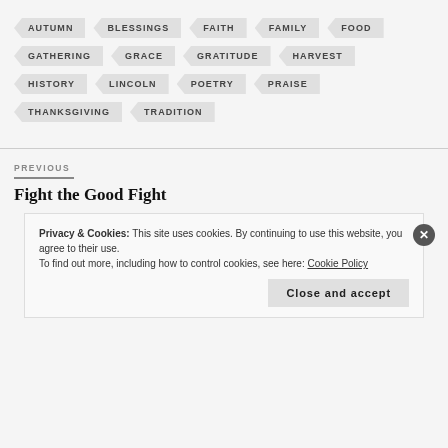AUTUMN
BLESSINGS
FAITH
FAMILY
FOOD
GATHERING
GRACE
GRATITUDE
HARVEST
HISTORY
LINCOLN
POETRY
PRAISE
THANKSGIVING
TRADITION
PREVIOUS
Fight the Good Fight
Privacy & Cookies: This site uses cookies. By continuing to use this website, you agree to their use.
To find out more, including how to control cookies, see here: Cookie Policy
Close and accept